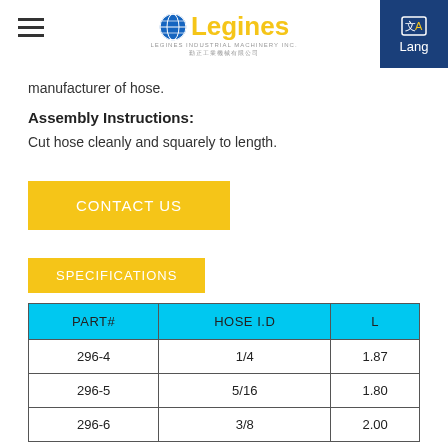Legines
manufacturer of hose.
Assembly Instructions:
Cut hose cleanly and squarely to length.
CONTACT US
SPECIFICATIONS
| PART# | HOSE I.D | L |
| --- | --- | --- |
| 296-4 | 1/4 | 1.87 |
| 296-5 | 5/16 | 1.80 |
| 296-6 | 3/8 | 2.00 |